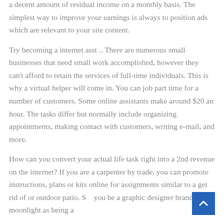a decent amount of residual income on a monthly basis. The simplest way to improve your earnings is always to position ads which are relevant to your site content.
Try becoming a internet asst .. There are numerous small businesses that need small work accomplished, however they can't afford to retain the services of full-time individuals. This is why a virtual helper will come in. You can job part time for a number of customers. Some online assistants make around $20 an hour. The tasks differ but normally include organizing appointments, making contact with customers, writing e-mail, and more.
How can you convert your actual life task right into a 2nd revenue on the internet? If you are a carpenter by trade, you can promote instructions, plans or kits online for assignments similar to a get rid of or outdoor patio. S… you be a graphic designer brand, moonlight as being a